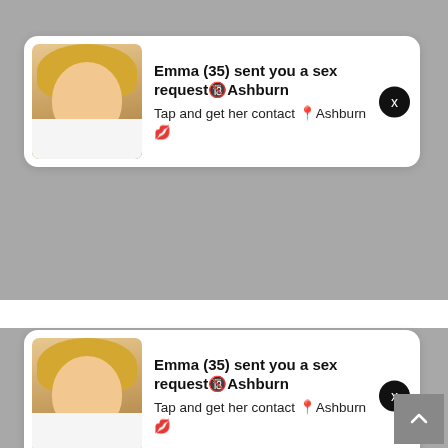[Figure (screenshot): Screenshot showing two identical spam/ad notification pop-ups each with a woman's photo and text 'Emma (35) sent you a sex request in Ashburn. Tap and get her contact in Ashburn.' with a close X button. Below is a comic speech bubble saying 'BUT I WASN'T ABLE TO SAVE ANYONE THIS TIME AROUND, I'M NO LONGER QUALIFIED TO DO THIS...' with a scroll-up button.]